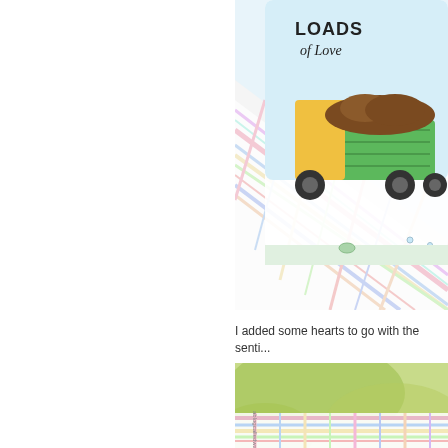[Figure (photo): Close-up photo of a handmade greeting card with a colorful plaid patterned background, featuring a green dump truck loaded with brown dirt, text reading 'LOADS of Love' in the upper portion, and small decorative gems on a light blue/white card surface.]
I added some hearts to go with the senti...
[Figure (photo): Partial close-up photo of a handmade card with colorful plaid/checkered patterned paper strip, with green blurred leaves in the background and a vertical watermark text reading 'ablogcalledwanda.com'.]